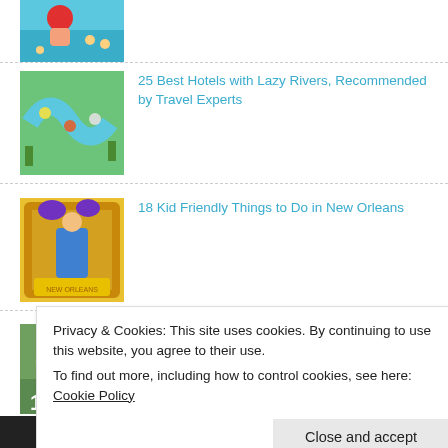[Figure (photo): Partial image at top: hand holding red ball near a pool/water park scene]
[Figure (photo): Aerial view of a lazy river hotel pool with tubes]
25 Best Hotels with Lazy Rivers, Recommended by Travel Experts
[Figure (photo): Kid in New Orleans themed golden frame photo prop]
18 Kid Friendly Things to Do in New Orleans
[Figure (photo): Backyard barbecue party scene]
15 Backyard Barbecue Party Ideas to Impress Your Guests Without Stress
Privacy & Cookies: This site uses cookies. By continuing to use this website, you agree to their use.
To find out more, including how to control cookies, see here:
Cookie Policy
Exclusive Member of Mediavine Travel